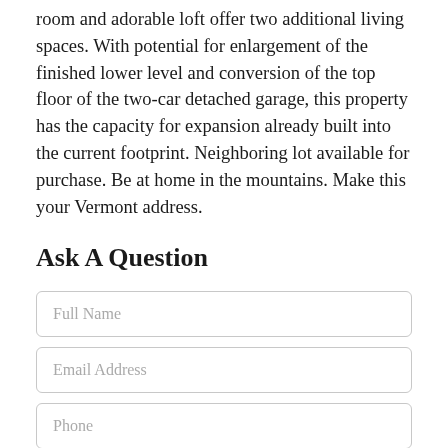room and adorable loft offer two additional living spaces. With potential for enlargement of the finished lower level and conversion of the top floor of the two-car detached garage, this property has the capacity for expansion already built into the current footprint. Neighboring lot available for purchase. Be at home in the mountains. Make this your Vermont address.
Ask A Question
Full Name
Email Address
Phone
I would like to know more about 95 Kerri Ann Lane Wardsboro VT 05355